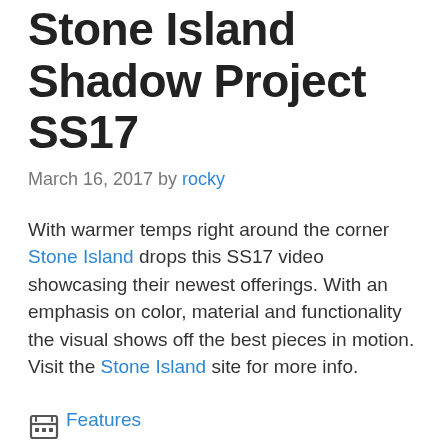Stone Island Shadow Project SS17
March 16, 2017 by rocky
With warmer temps right around the corner Stone Island drops this SS17 video showcasing their newest offerings. With an emphasis on color, material and functionality the visual shows off the best pieces in motion. Visit the Stone Island site for more info.
Categories: Features
Tags: Shadow Project, SS17, Stone Island, Videos
0 Comments